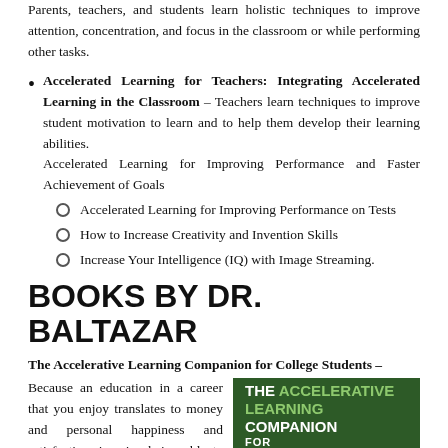Parents, teachers, and students learn holistic techniques to improve attention, concentration, and focus in the classroom or while performing other tasks.
Accelerated Learning for Teachers: Integrating Accelerated Learning in the Classroom – Teachers learn techniques to improve student motivation to learn and to help them develop their learning abilities.
Accelerated Learning for Improving Performance and Faster Achievement of Goals
Accelerated Learning for Improving Performance on Tests
How to Increase Creativity and Invention Skills
Increase Your Intelligence (IQ) with Image Streaming.
BOOKS BY DR. BALTAZAR
The Accelerative Learning Companion for College Students –
Because an education in a career that you enjoy translates to money and personal happiness and satisfaction, imagine being able to begin with the...
[Figure (illustration): Book cover for 'The Accelerative Learning Companion for College Students' — dark green background with white and light green text showing the title.]